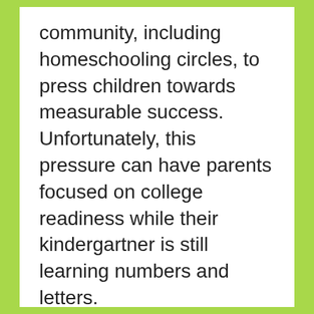community, including homeschooling circles, to press children towards measurable success. Unfortunately, this pressure can have parents focused on college readiness while their kindergartner is still learning numbers and letters.
Having now homeschooled for over 16 years and graduated 2 struggling learners I find myself looking back and realizing how much of this pressure I allowed to side-track our